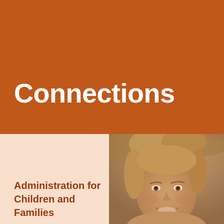Connections
[Figure (photo): Sepia-toned portrait photo of a smiling woman with short blonde hair, outdoors with blurred natural background, cropped to show head and partial shoulders in lower-right quadrant of the page.]
Administration for Children and Families